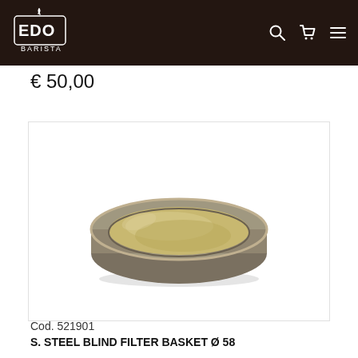EDO BARISTA
€ 50,00
[Figure (photo): Stainless steel blind filter basket, circular, shallow bowl shape with a wide rim, metallic silver-gold sheen, photographed on white background.]
Cod. 521901
S. STEEL BLIND FILTER BASKET Ø 58